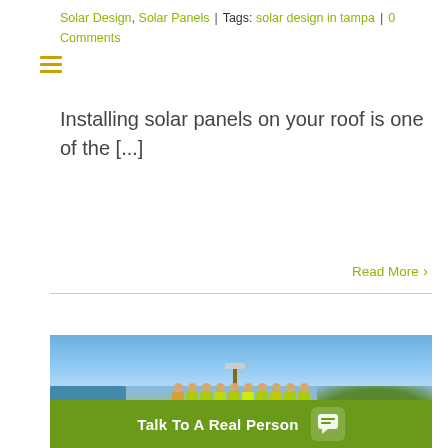☰
Solar Design, Solar Panels | Tags: solar design in tampa | 0 Comments
Installing solar panels on your roof is one of the [...]
Read More >
[Figure (photo): Group of people wearing yellow safety vests standing in a park or field, holding bags, in front of a utility pole, with trees and a sports facility visible in the background under a blue sky.]